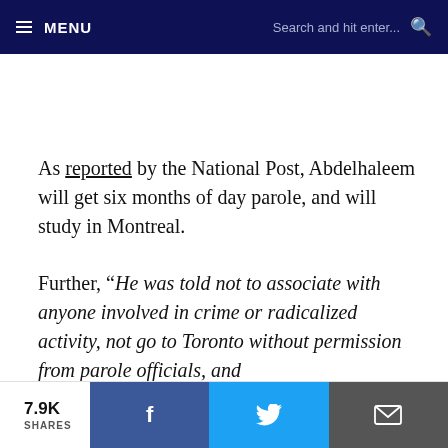MENU  Search and hit enter...
As reported by the National Post, Abdelhaleem will get six months of day parole, and will study in Montreal.
Further, “He was told not to associate with anyone involved in crime or radicalized activity, not go to Toronto without permission from parole officials, and
7.9K SHARES  [Facebook] [Twitter] [Email]